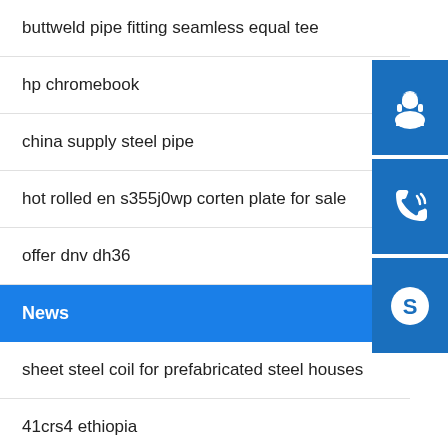buttweld pipe fitting seamless equal tee
hp chromebook
china supply steel pipe
hot rolled en s355j0wp corten plate for sale
offer dnv dh36
News
sheet steel coil for prefabricated steel houses
41crs4 ethiopia
high temperature resistant steel 718